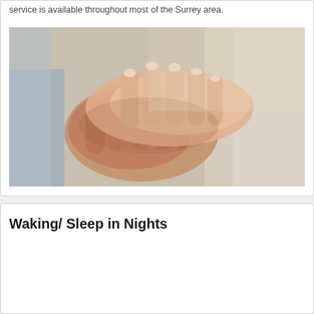service is available throughout most of the Surrey area.
[Figure (photo): Close-up photograph of a younger person's hands gently holding an elderly person's hands, symbolizing care and support.]
Waking/ Sleep in Nights